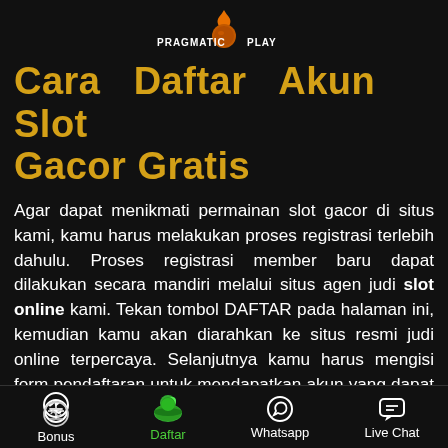[Figure (logo): Pragmatic Play logo with orange flame and orange/brown ball]
Cara Daftar Akun Slot Gacor Gratis
Agar dapat menikmati permainan slot gacor di situs kami, kamu harus melakukan proses registrasi terlebih dahulu. Proses registrasi member baru dapat dilakukan secara mandiri melalui situs agen judi slot online kami. Tekan tombol DAFTAR pada halaman ini, kemudian kamu akan diarahkan ke situs resmi judi online terpercaya. Selanjutnya kamu harus mengisi form pendaftaran untuk mendapatkan akun yang dapat digunakan untuk semua permainan yang tersedia.
Sebelum memulai permainan lakukan deposit dengan minimal 10.000 rupiah yang dapat dilakukan melalui cara pembayaran Transfer bank
Bonus | Daftar | Whatsapp | Live Chat